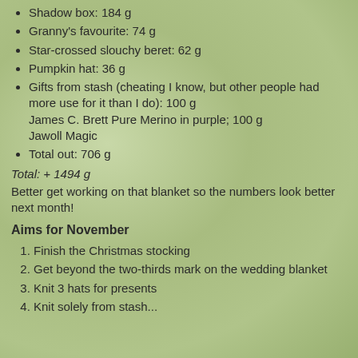Shadow box: 184 g
Granny's favourite: 74 g
Star-crossed slouchy beret: 62 g
Pumpkin hat: 36 g
Gifts from stash (cheating I know, but other people had more use for it than I do): 100 g James C. Brett Pure Merino in purple; 100 g Jawoll Magic
Total out: 706 g
Total: + 1494 g
Better get working on that blanket so the numbers look better next month!
Aims for November
Finish the Christmas stocking
Get beyond the two-thirds mark on the wedding blanket
Knit 3 hats for presents
Knit solely from stash...